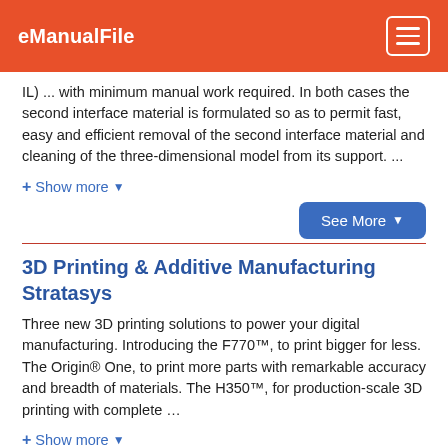eManualFile
IL) ... with minimum manual work required. In both cases the second interface material is formulated so as to permit fast, easy and efficient removal of the second interface material and cleaning of the three-dimensional model from its support. ...
+ Show more ▾
See More ▾
3D Printing & Additive Manufacturing Stratasys
Three new 3D printing solutions to power your digital manufacturing. Introducing the F770™, to print bigger for less. The Origin® One, to print more parts with remarkable accuracy and breadth of materials. The H350™, for production-scale 3D printing with complete …
+ Show more ▾